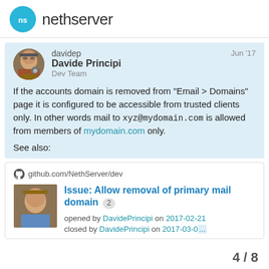nethserver
davidep Davide Principi Dev Team Jun '17 If the accounts domain is removed from “Email > Domains” page it is configured to be accessible from trusted clients only. In other words mail to xyz@mydomain.com is allowed from members of mydomain.com only.

See also:
github.com/NethServer/dev
Issue: Allow removal of primary mail domain 2 opened by DavidePrincipi on 2017-02-21 closed by DavidePrincipi on 2017-03-0...
4 / 8